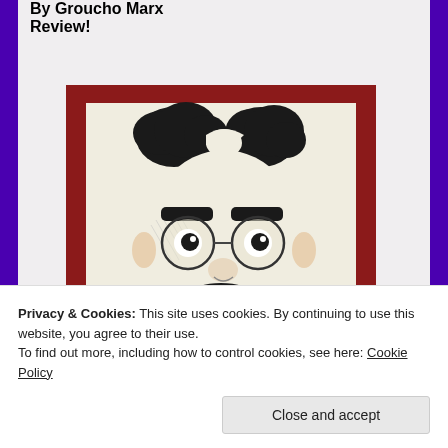By Groucho Marx Review!
[Figure (illustration): Stylized illustration of Groucho Marx face with distinctive eyebrows, round glasses, and mustache. Framed with a dark red/maroon border. Black, white and cream colors.]
Privacy & Cookies: This site uses cookies. By continuing to use this website, you agree to their use.
To find out more, including how to control cookies, see here: Cookie Policy
Close and accept